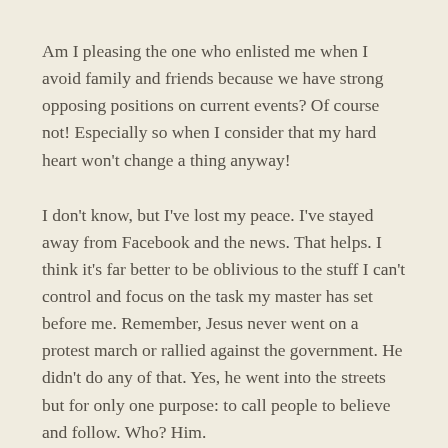Am I pleasing the one who enlisted me when I avoid family and friends because we have strong opposing positions on current events? Of course not! Especially so when I consider that my hard heart won't change a thing anyway!
I don't know, but I've lost my peace. I've stayed away from Facebook and the news. That helps. I think it's far better to be oblivious to the stuff I can't control and focus on the task my master has set before me. Remember, Jesus never went on a protest march or rallied against the government. He didn't do any of that. Yes, he went into the streets but for only one purpose: to call people to believe and follow. Who? Him.